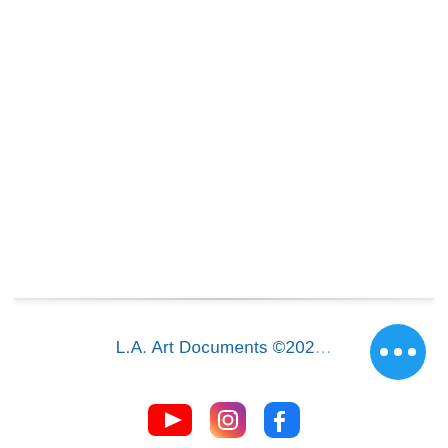L.A. Art Documents ©202…
[Figure (illustration): Blue circular more/options button with three white dots (ellipsis) and social media icons (YouTube, Instagram, Facebook) partially visible at bottom]